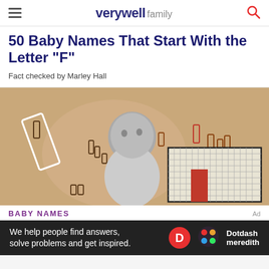verywell family
50 Baby Names That Start With the Letter "F"
Fact checked by Marley Hall
[Figure (illustration): Illustration of a baby sitting on a beige background with decorative rectangular shapes and a grid/bar chart graphic element on the right side.]
BABY NAMES
We help people find answers, solve problems and get inspired. Dotdash meredith